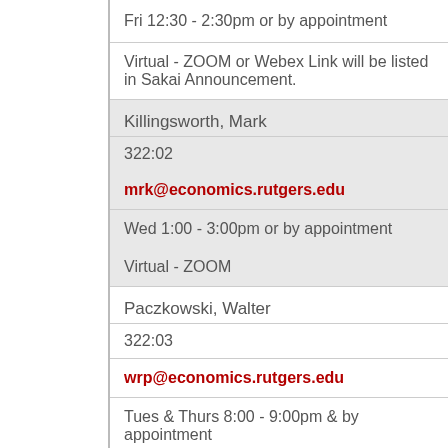Fri 12:30 - 2:30pm or by appointment
Virtual - ZOOM or Webex Link will be listed in Sakai Announcement.
Killingsworth, Mark
322:02
mrk@economics.rutgers.edu
Wed 1:00 - 3:00pm or by appointment
Virtual - ZOOM
Paczkowski, Walter
322:03
wrp@economics.rutgers.edu
Tues & Thurs 8:00 - 9:00pm & by appointment
Virtual - ZOOM